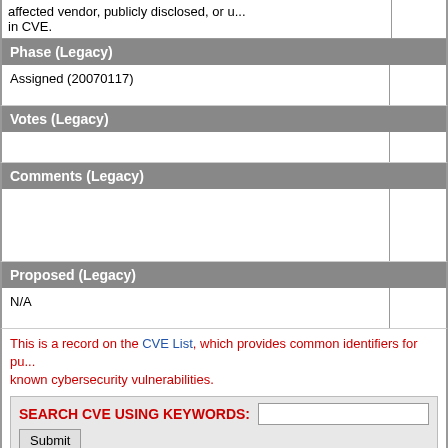affected vendor, publicly disclosed, or u... in CVE.
Phase (Legacy)
| Assigned (20070117) |  |
Votes (Legacy)
|  |  |
Comments (Legacy)
|  |  |
Proposed (Legacy)
| N/A |  |
This is a record on the CVE List, which provides common identifiers for pu... known cybersecurity vulnerabilities.
SEARCH CVE USING KEYWORDS:
Submit
You can also search by reference using the CVE Reference Maps.
For More Information:  CVE Request Web Form (select "Other" ... dropdown)